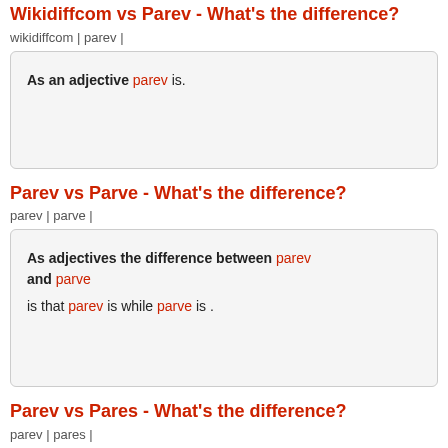Wikidiffcom vs Parev - What's the difference?
wikidiffcom | parev |
As an adjective parev is.
Parev vs Parve - What's the difference?
parev | parve |
As adjectives the difference between parev and parve is that parev is while parve is .
Parev vs Pares - What's the difference?
parev | pares |
As adjectives the difference...